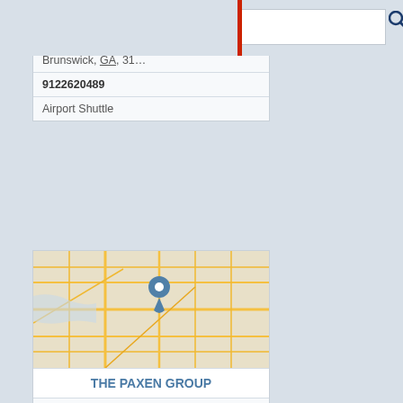THE PAS[TOR GROUP] (partial, top)
106 Joe Frank Har[ris Pkwy]
Brunswick, GA, 31[520]
9122620489
Airport Shuttle
[Figure (map): Street map showing location pin for The Paxen Group in Brunswick, GA area]
THE PAXEN GROUP
1304 Gloucester St
Brunswick, GA, 31520
9122757379
Colleges Universities
[Figure (map): Street map showing location pin for The Pool Place in Brunswick, GA area]
THE POOL PLACE
6011 New Jesup Hwy